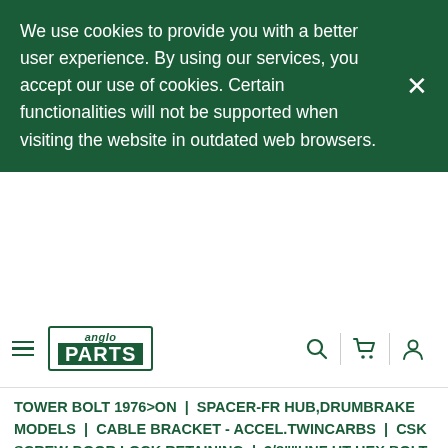We use cookies to provide you with a better user experience. By using our services, you accept our use of cookies. Certain functionalities will not be supported when visiting the website in outdated web browsers.
[Figure (logo): Anglo Parts logo - text 'anglo' in italic above 'PARTS' in bold white on dark green background, inside a green bordered box]
TOWER BOLT 1976>ON | SPACER-FR HUB,DRUMBRAKE MODELS | CABLE BRACKET - ACCEL.TWINCARBS | CSK SCREW-DOOR LOCK RETAINING | 3/8""UNF HT HEX BOLT - STRG.ARM | LOCKTAB-BIG END CAP BOLTS | LOCKTAB-MAINEND 8/948cc&9/1098 | HINGE BUSH BRASS (NOT OILITE) | REAR LENS SCREW ST.ST PAN POZI | REAR LENS SCREW 1.5/8"" PAN | SPRING E""CLIP-BRAKE W/CYLINDER | T GRADE CALIPER BRIDGE BOLT""S | SPRINGCLIP-H/BRAKE COMPENSATOR | THIN NYLOC NUT-AUTO INPUTSHAFT | HEX NUT-